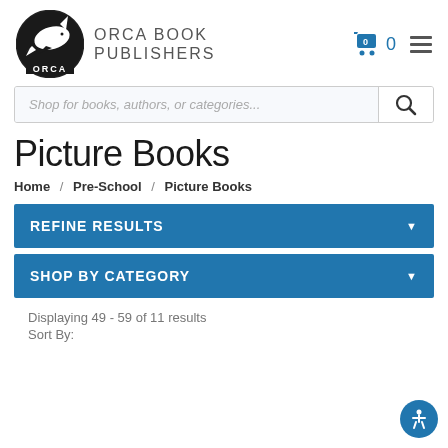[Figure (logo): Orca Book Publishers logo: circular black and white emblem with orca whale, text ORCA at bottom, beside text ORCA BOOK PUBLISHERS]
[Figure (screenshot): Search bar with placeholder text 'Shop for books, authors, or categories...' and a search icon button]
Picture Books
Home / Pre-School / Picture Books
REFINE RESULTS
SHOP BY CATEGORY
Displaying 49 - 59 of 11 results
Sort By: